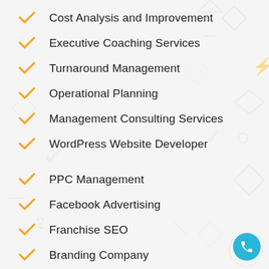Cost Analysis and Improvement
Executive Coaching Services
Turnaround Management
Operational Planning
Management Consulting Services
WordPress Website Developer
PPC Management
Facebook Advertising
Franchise SEO
Branding Company
Brand Positioning